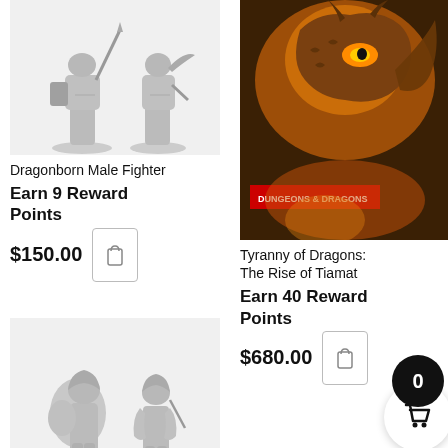[Figure (photo): Two gray unpainted Dragonborn Male Fighter miniature figurines on white background]
Dragonborn Male Fighter
Earn 9 Reward Points
$150.00
[Figure (photo): Tyranny of Dragons: The Rise of Tiamat book cover showing a dragon with glowing eyes]
Tyranny of Dragons: The Rise of Tiamat
Earn 40 Reward Points
$680.00
[Figure (photo): Two gray unpainted halfling ranger miniature figurines on white background]
[Figure (illustration): Shopping cart badge showing 0 items in black circle with white basket icon below]